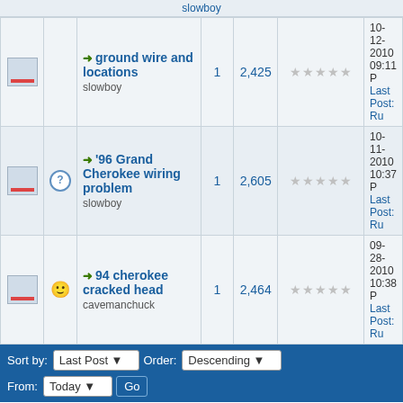|  |  | Thread | Replies | Views | Rating | Last Post |
| --- | --- | --- | --- | --- | --- | --- |
|  | → | ground wire and locations
slowboy | 1 | 2,425 | ☆☆☆☆☆ | 10-12-2010 09:11
Last Post: Ru |
|  | ? | '96 Grand Cherokee wiring problem
slowboy | 1 | 2,605 | ☆☆☆☆☆ | 10-11-2010 10:37
Last Post: Ru |
|  | ☺ | 94 cherokee cracked head
cavemanchuck | 1 | 2,464 | ☆☆☆☆☆ | 09-28-2010 10:38
Last Post: Ru |
Sort by: Last Post   Order: Descending   From: Today   Go
Pages (5): « Previous 1 2 3 4 5 Next »   NEW THREAD
New Posts
No New Posts
Hot Thread (New)
Contains Posts by You
Hot Thread (No New)
Locked Thread